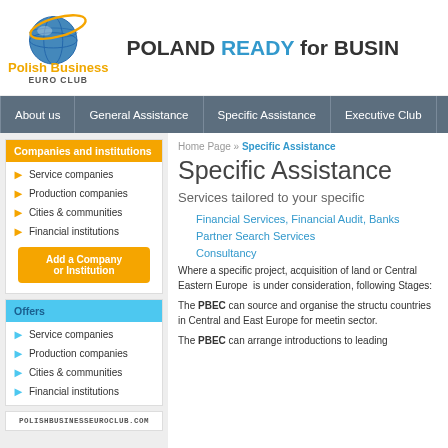[Figure (logo): Polish Business Euro Club logo with globe graphic and orange text]
POLAND READY for BUSINESS
About us | General Assistance | Specific Assistance | Executive Club
Companies and institutions
Service companies
Production companies
Cities & communities
Financial institutions
Add a Company or Institution
Offers
Service companies
Production companies
Cities & communities
Financial institutions
POLISHBUSINESSEUROCLUB.COM
Home Page » Specific Assistance
Specific Assistance
Services tailored to your specific
Financial Services, Financial Audit, Banks
Partner Search Services
Consultancy
Where a specific project, acquisition of land or Central Eastern Europe is under consideration, following Stages:
The PBEC can source and organise the structure countries in Central and East Europe for meeting sector.
The PBEC can arrange introductions to leading